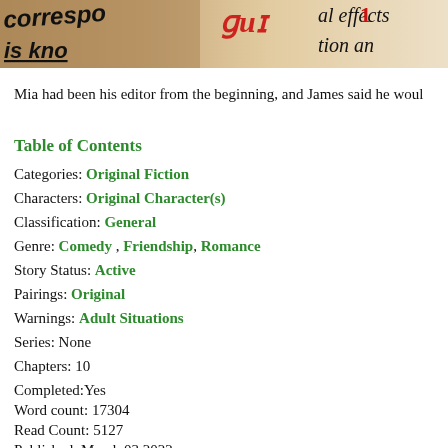[Figure (photo): Partial book cover image showing text fragments: 'correspo...', 'is kno...', handwritten/red text, 'al effects', 'tion an']
Mia had been his editor from the beginning, and James said he woul
Table of Contents
Categories: Original Fiction
Characters: Original Character(s)
Classification: General
Genre: Comedy , Friendship, Romance
Story Status: Active
Pairings: Original
Warnings: Adult Situations
Series: None
Chapters: 10
Completed:Yes
Word count: 17304
Read Count: 5127
Published: March 03 2022